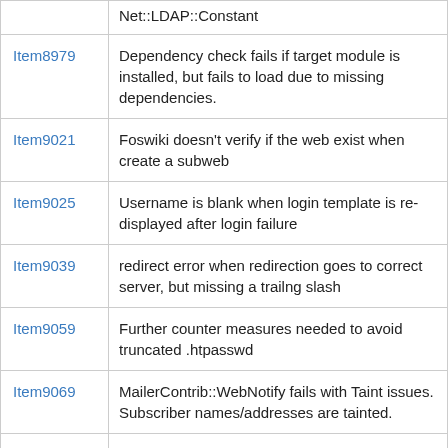| Item8979 | Dependency check fails if target module is installed, but fails to load due to missing dependencies. |
| Item9021 | Foswiki doesn't verify if the web exist when create a subweb |
| Item9025 | Username is blank when login template is re-displayed after login failure |
| Item9039 | redirect error when redirection goes to correct server, but missing a trailng slash |
| Item9059 | Further counter measures needed to avoid truncated .htpasswd |
| Item9069 | MailerContrib::WebNotify fails with Taint issues. Subscriber names/addresses are tainted. |
| Item9101 | Configure::Load contains defined(%hash) |
| Item9127 | CompareRevisionsAddOn should call HTML::Element->delete to avoid memory leaks |